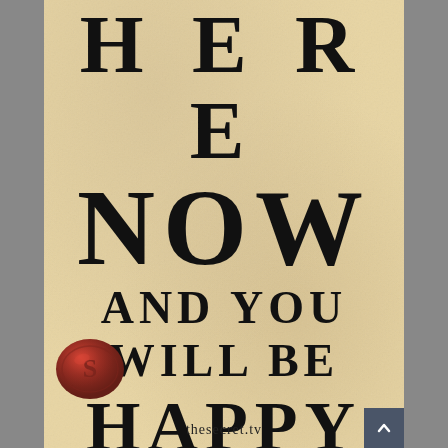[Figure (illustration): Book cover or motivational poster with parchment/aged paper background, large bold serif text reading 'HERE NOW AND YOU WILL BE HAPPY', a red wax seal with letter S in the bottom left, and website URL 'thesecret.tv' at the bottom.]
HERE NOW AND YOU WILL BE HAPPY
thesecret.tv